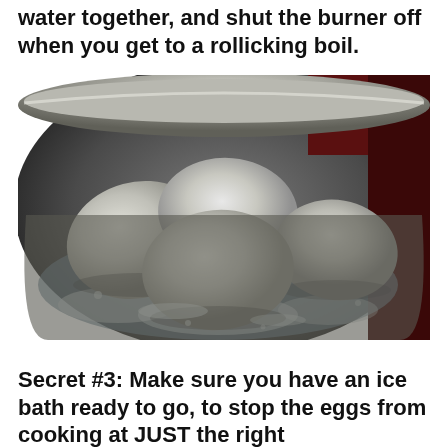water together, and shut the burner off when you get to a rollicking boil.
[Figure (photo): Five white eggs submerged in a metal pot of boiling water, viewed from above]
Secret #3: Make sure you have an ice bath ready to go, to stop the eggs from cooking at JUST the right